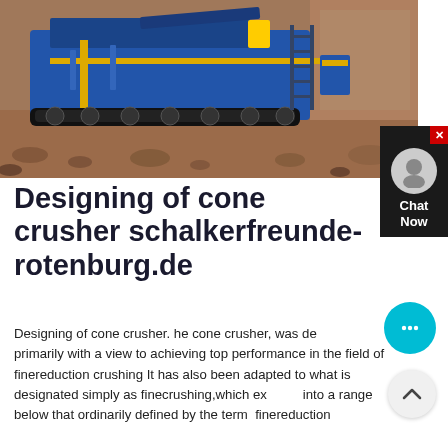[Figure (photo): A blue mobile cone crusher machine operating on a rocky/earthy terrain with reddish-brown soil and rocks in the background.]
Designing of cone crusher schalkerfreunde-rotenburg.de
Designing of cone crusher. he cone crusher, was designed primarily with a view to achieving top performance in the field of finereduction crushing It has also been adapted to what is designated simply as finecrushing,which extends into a range below that ordinarily defined by the term finereduction